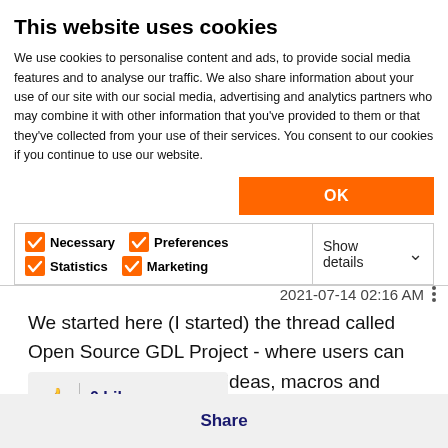This website uses cookies
We use cookies to personalise content and ads, to provide social media features and to analyse our traffic. We also share information about your use of our site with our social media, advertising and analytics partners who may combine it with other information that you’ve provided to them or that they’ve collected from your use of their services. You consent to our cookies if you continue to use our website.
OK
Necessary  Preferences  Statistics  Marketing  Show details
2021-07-14 02:16 AM
We started here (I started) the thread called Open Source GDL Project - where users can exchange GDL scripts, ideas, macros and develop new tools in open source manner.
0 Likes
Share